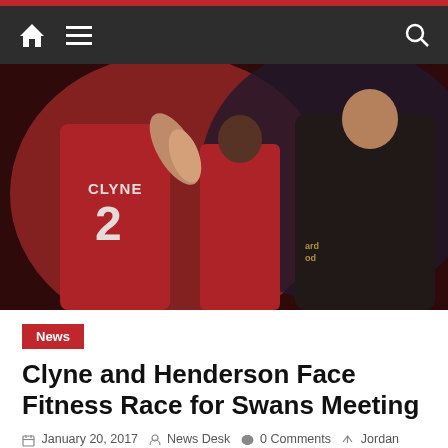[Figure (photo): Liverpool FC players in red jerseys celebrating, one player wearing number 2 CLYNE jersey high-fiving a teammate in a black jacket]
News
Clyne and Henderson Face Fitness Race for Swans Meeting
January 20, 2017   News Desk   0 Comments   Jordan Henderson, Jordan Henderson heel injury update, Jordan Henderson injury update, Jurgen Klopp, liverpool fc, Liverpool FC news, Liverpool news, Manchester United, Nathaniel Clyne,